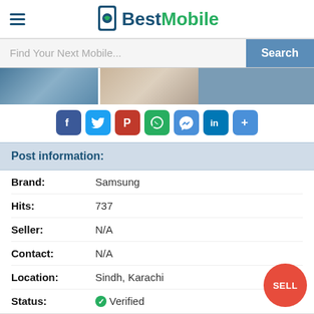BestMobile
Find Your Next Mobile...
[Figure (photo): Two photo thumbnails of a mobile phone]
[Figure (infographic): Social sharing icons: Facebook, Twitter, Pinterest, WhatsApp, Messenger, LinkedIn, More]
Post information:
| Field | Value |
| --- | --- |
| Brand: | Samsung |
| Hits: | 737 |
| Seller: | N/A |
| Contact: | N/A |
| Location: | Sindh, Karachi |
| Status: | Verified |
Description:
aik crack hai side per aur speaker saaf hoga baki kli masla nahi hai